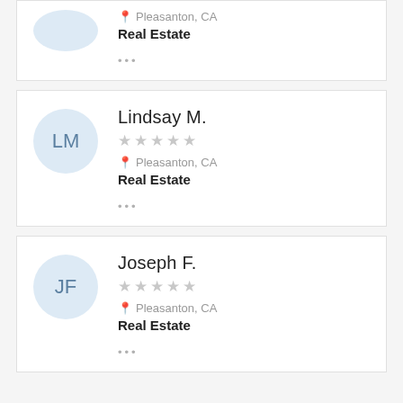Pleasanton, CA
Real Estate
...
Lindsay M.
Pleasanton, CA
Real Estate
...
Joseph F.
Pleasanton, CA
Real Estate
...